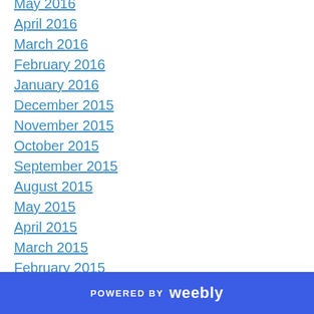May 2016
April 2016
March 2016
February 2016
January 2016
December 2015
November 2015
October 2015
September 2015
August 2015
May 2015
April 2015
March 2015
February 2015
January 2015
December 2014
November 2014
POWERED BY weebly